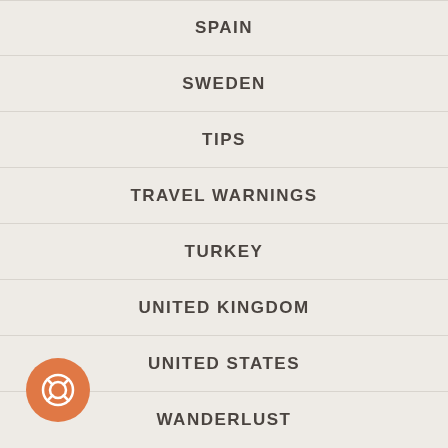SPAIN
SWEDEN
TIPS
TRAVEL WARNINGS
TURKEY
UNITED KINGDOM
UNITED STATES
WANDERLUST
[Figure (illustration): Orange circular button with a life preserver / help icon in white]